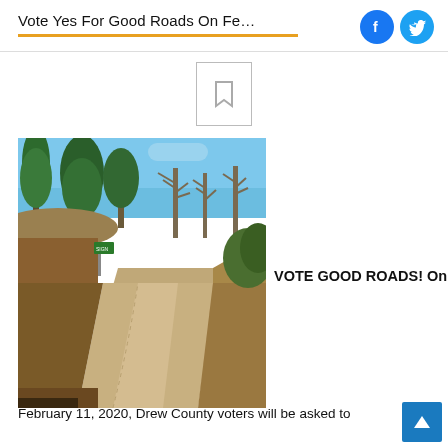Vote Yes For Good Roads On Fe…
[Figure (photo): A rural road curving through trees with blue sky, photograph of a country road in Drew County]
VOTE GOOD ROADS! On
February 11, 2020, Drew County voters will be asked to